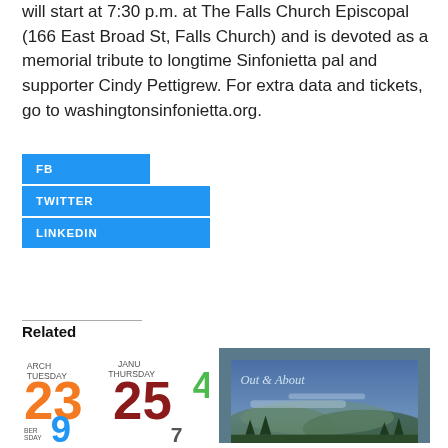will start at 7:30 p.m. at The Falls Church Episcopal (166 East Broad St, Falls Church) and is devoted as a memorial tribute to longtime Sinfonietta pal and supporter Cindy Pettigrew. For extra data and tickets, go to washingtonsinfonietta.org.
[Figure (other): Social share buttons: FB (blue), TWITTER (blue), LINKEDIN (blue), staggered layout]
Related
[Figure (other): Thumbnail image of colorful calendar numbers (23, 25, etc.) with day labels like TUESDAY, THURSDAY, SUNDAY]
[Figure (other): Thumbnail image with blue mountain landscape and text 'Out & About']